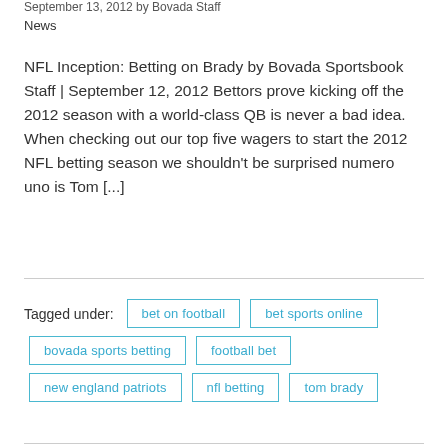September 13, 2012 by Bovada Staff
News
NFL Inception: Betting on Brady by Bovada Sportsbook Staff | September 12, 2012 Bettors prove kicking off the 2012 season with a world-class QB is never a bad idea. When checking out our top five wagers to start the 2012 NFL betting season we shouldn't be surprised numero uno is Tom [...]
Tagged under:
bet on football
bet sports online
bovada sports betting
football bet
new england patriots
nfl betting
tom brady